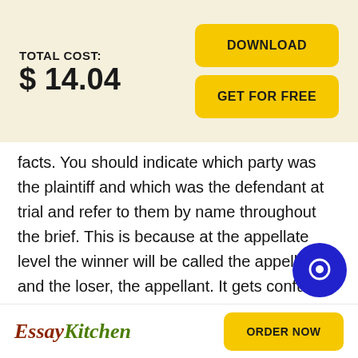TOTAL COST: $ 14.04
[Figure (screenshot): DOWNLOAD button (yellow, rounded)]
[Figure (screenshot): GET FOR FREE button (yellow, rounded)]
facts. You should indicate which party was the plaintiff and which was the defendant at trial and refer to them by name throughout the brief. This is because at the appellate level the winner will be called the appellee and the loser, the appellant. It gets confusing if you continue to call them plaintiff and defendant or appellant and appellee.
[Figure (logo): EssayKitchen logo]
[Figure (screenshot): ORDER NOW button (yellow, rounded)]